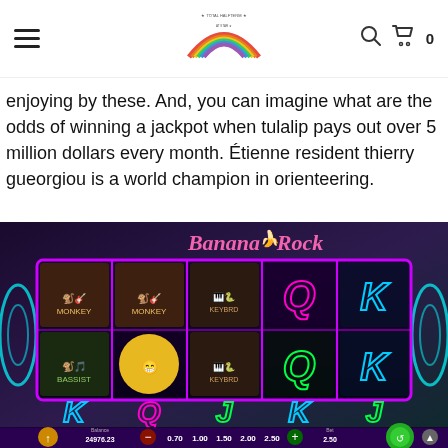Navigation header with hamburger menu, rainbow logo, search icon and cart (0)
enjoying by these. And, you can imagine what are the odds of winning a jackpot when tulalip pays out over 5 million dollars every month. Étienne resident thierry gueorgiou is a world champion in orienteering.
[Figure (screenshot): Banana Rock slot machine game screenshot showing 5-reel slot with monkey musician characters, neon purple frame, Q, K, J card symbols in neon colors, balance display showing 24976.23, bet options 0.70, 1.00, 1.50, 2.00, 2.50, and bet 2.50]